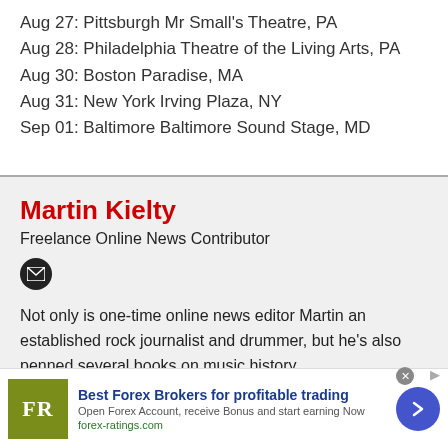Aug 27: Pittsburgh Mr Small's Theatre, PA
Aug 28: Philadelphia Theatre of the Living Arts, PA
Aug 30: Boston Paradise, MA
Aug 31: New York Irving Plaza, NY
Sep 01: Baltimore Baltimore Sound Stage, MD
Martin Kielty
Freelance Online News Contributor
Not only is one-time online news editor Martin an established rock journalist and drummer, but he's also penned several books on music history.
[Figure (infographic): Advertisement banner: Best Forex Brokers for profitable trading - forex-ratings.com with FR logo and arrow button]